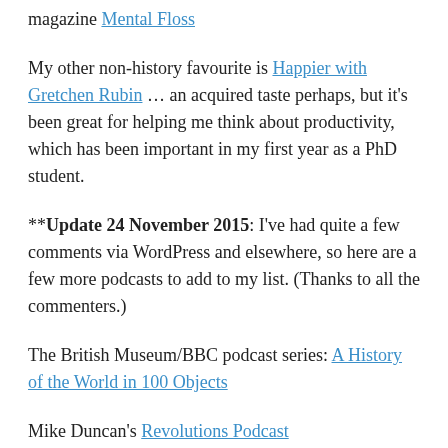magazine Mental Floss
My other non-history favourite is Happier with Gretchen Rubin … an acquired taste perhaps, but it's been great for helping me think about productivity, which has been important in my first year as a PhD student.
**Update 24 November 2015: I've had quite a few comments via WordPress and elsewhere, so here are a few more podcasts to add to my list. (Thanks to all the commenters.)
The British Museum/BBC podcast series: A History of the World in 100 Objects
Mike Duncan's Revolutions Podcast
Backdoor Broadcasting – this site contains recordings of presentations (often including Powerpoints) given at various